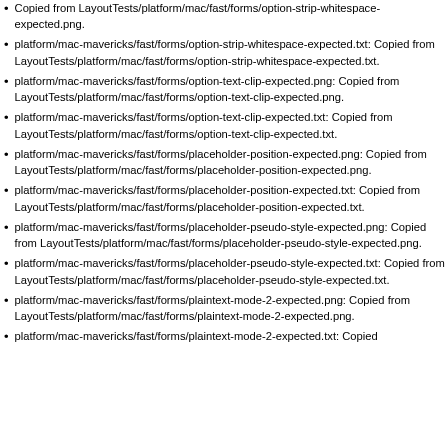Copied from LayoutTests/platform/mac/fast/forms/option-strip-whitespace-expected.png.
platform/mac-mavericks/fast/forms/option-strip-whitespace-expected.txt: Copied from LayoutTests/platform/mac/fast/forms/option-strip-whitespace-expected.txt.
platform/mac-mavericks/fast/forms/option-text-clip-expected.png: Copied from LayoutTests/platform/mac/fast/forms/option-text-clip-expected.png.
platform/mac-mavericks/fast/forms/option-text-clip-expected.txt: Copied from LayoutTests/platform/mac/fast/forms/option-text-clip-expected.txt.
platform/mac-mavericks/fast/forms/placeholder-position-expected.png: Copied from LayoutTests/platform/mac/fast/forms/placeholder-position-expected.png.
platform/mac-mavericks/fast/forms/placeholder-position-expected.txt: Copied from LayoutTests/platform/mac/fast/forms/placeholder-position-expected.txt.
platform/mac-mavericks/fast/forms/placeholder-pseudo-style-expected.png: Copied from LayoutTests/platform/mac/fast/forms/placeholder-pseudo-style-expected.png.
platform/mac-mavericks/fast/forms/placeholder-pseudo-style-expected.txt: Copied from LayoutTests/platform/mac/fast/forms/placeholder-pseudo-style-expected.txt.
platform/mac-mavericks/fast/forms/plaintext-mode-2-expected.png: Copied from LayoutTests/platform/mac/fast/forms/plaintext-mode-2-expected.png.
platform/mac-mavericks/fast/forms/plaintext-mode-2-expected.txt: Copied